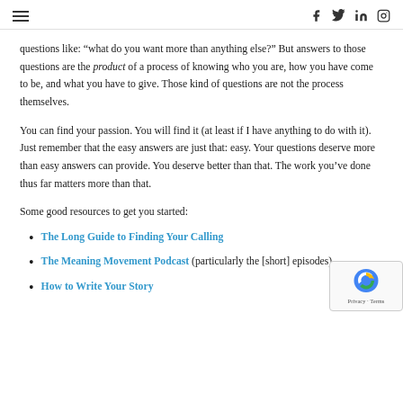[hamburger menu] [social icons: f, twitter, linkedin, instagram]
questions like: “what do you want more than anything else?” But answers to those questions are the product of a process of knowing who you are, how you have come to be, and what you have to give. Those kind of questions are not the process themselves.
You can find your passion. You will find it (at least if I have anything to do with it). Just remember that the easy answers are just that: easy. Your questions deserve more than easy answers can provide. You deserve better than that. The work you’ve done thus far matters more than that.
Some good resources to get you started:
The Long Guide to Finding Your Calling
The Meaning Movement Podcast (particularly the [short] episodes)
How to Write Your Story